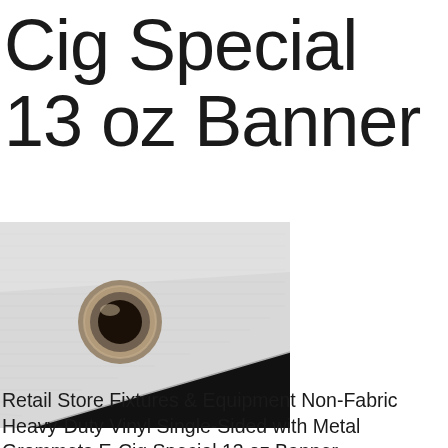Cig Special 13 oz Banner
[Figure (photo): Close-up photo of a corner of a white/silver vinyl banner material with a metal grommet eyelet, against a black background. The banner material shows a subtle ribbed texture and the grommet is a round metal ring in the corner.]
Retail Store Fixtures & Equipment Non-Fabric Heavy-Duty Vinyl Single-Sided with Metal Grommets E-Cig Special 13 oz Banner